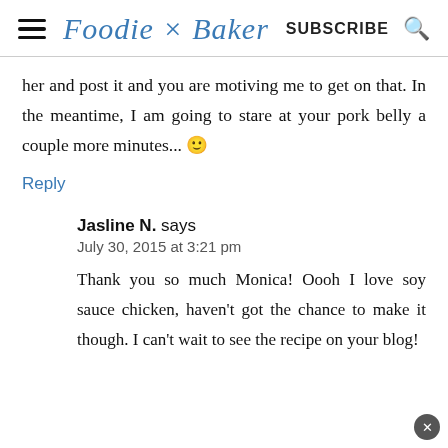Foodie × Baker  SUBSCRIBE
her and post it and you are motiving me to get on that. In the meantime, I am going to stare at your pork belly a couple more minutes... 🙂
Reply
Jasline N. says
July 30, 2015 at 3:21 pm
Thank you so much Monica! Oooh I love soy sauce chicken, haven't got the chance to make it though. I can't wait to see the recipe on your blog!